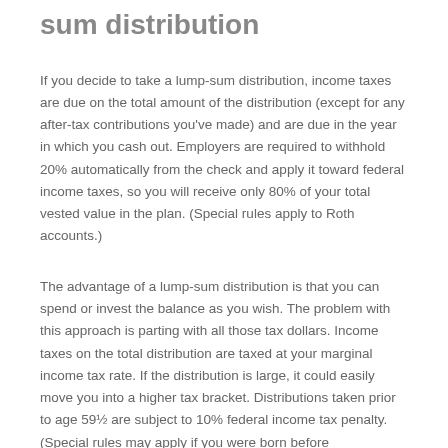sum distribution
If you decide to take a lump-sum distribution, income taxes are due on the total amount of the distribution (except for any after-tax contributions you've made) and are due in the year in which you cash out. Employers are required to withhold 20% automatically from the check and apply it toward federal income taxes, so you will receive only 80% of your total vested value in the plan. (Special rules apply to Roth accounts.)
The advantage of a lump-sum distribution is that you can spend or invest the balance as you wish. The problem with this approach is parting with all those tax dollars. Income taxes on the total distribution are taxed at your marginal income tax rate. If the distribution is large, it could easily move you into a higher tax bracket. Distributions taken prior to age 59½ are subject to 10% federal income tax penalty. (Special rules may apply if you were born before